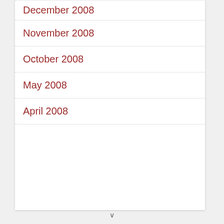December 2008
November 2008
October 2008
May 2008
April 2008